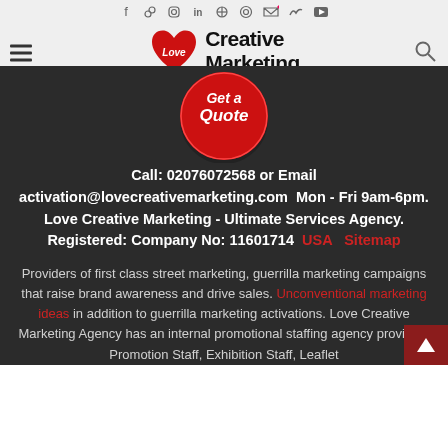Social media icons row: facebook, google+, instagram, linkedin, pinterest, flickr, rss, twitter, youtube
[Figure (logo): Love Creative Marketing logo: red heart with 'Love' text, alongside bold black text 'Creative Marketing']
[Figure (other): Red circular 'Get a Quote' button badge with white italic text]
Call: 02076072568 or Email activation@lovecreativemarketing.com  Mon - Fri 9am-6pm. Love Creative Marketing - Ultimate Services Agency. Registered: Company No: 11601714  USA  Sitemap
Providers of first class street marketing, guerrilla marketing campaigns that raise brand awareness and drive sales. Unconventional marketing ideas in addition to guerrilla marketing activations. Love Creative Marketing Agency has an internal promotional staffing agency providing Promotion Staff, Exhibition Staff, Leaflet